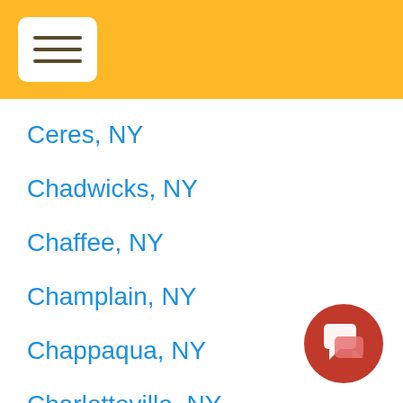[Figure (other): Yellow header bar with a hamburger menu button (three horizontal lines inside a white rounded rectangle)]
Ceres, NY
Chadwicks, NY
Chaffee, NY
Champlain, NY
Chappaqua, NY
Charlotteville, NY
Chase Mills, NY
Chateaugay, NY
[Figure (other): Red circular chat/message button icon in the bottom right corner]